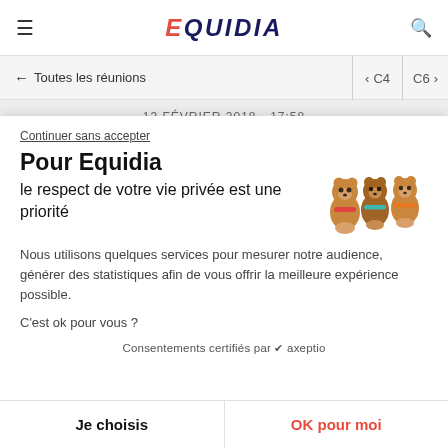EQUIDIA
← Toutes les réunions   < C4  C6 >
13 FÉVRIER 2018 - 17:58
R4 KUURNE 🇧🇪
Continuer sans accepter
Pour Equidia
le respect de votre vie privée est une priorité
[Figure (illustration): Three cartoon bear-shaped cookie/candy figures with colorful collars (red, teal, orange)]
Nous utilisons quelques services pour mesurer notre audience, générer des statistiques afin de vous offrir la meilleure expérience possible.
C'est ok pour vous ?
Consentements certifiés par ✔ axeptio
Je choisis
OK pour moi